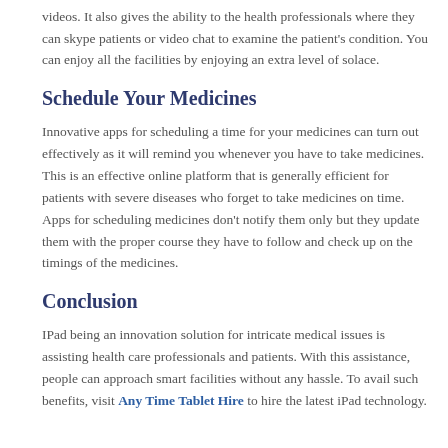feel better but they are also expanding the use of apps that are widely used for entertainment. You can share media files and even stream live videos. It also gives the ability to the health professionals where they can skype patients or video chat to examine the patient's condition. You can enjoy all the facilities by enjoying an extra level of solace.
Schedule Your Medicines
Innovative apps for scheduling a time for your medicines can turn out effectively as it will remind you whenever you have to take medicines. This is an effective online platform that is generally efficient for patients with severe diseases who forget to take medicines on time. Apps for scheduling medicines don't notify them only but they update them with the proper course they have to follow and check up on the timings of the medicines.
Conclusion
IPad being an innovation solution for intricate medical issues is assisting health care professionals and patients. With this assistance, people can approach smart facilities without any hassle. To avail such benefits, visit Any Time Tablet Hire to hire the latest iPad technology.